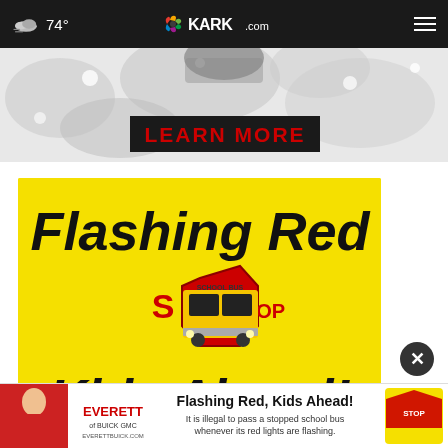74° KARK.com
[Figure (photo): Top advertisement banner with sparkling diamond/crystal background and LEARN MORE button in red on black bar]
[Figure (photo): Yellow advertisement with bold black text 'Flashing Red Kids Ahead!' featuring a school bus graphic with red stop sign arms]
[Figure (photo): Bottom banner ad: Everett Buick GMC - Flashing Red, Kids Ahead! It is illegal to pass a stopped school bus whenever its red lights are flashing.]